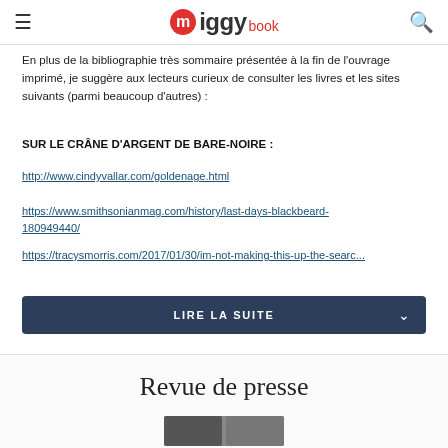iggybook
En plus de la bibliographie très sommaire présentée à la fin de l'ouvrage imprimé, je suggère aux lecteurs curieux de consulter les livres et les sites suivants (parmi beaucoup d'autres) :
SUR LE CRÂNE D'ARGENT DE BARE-NOIRE :
http://www.cindyvallar.com/goldenage.html
https://www.smithsonianmag.com/history/last-days-blackbeard-180949440/
https://tracysmorris.com/2017/01/30/im-not-making-this-up-the-searc...
LIRE LA SUITE
Revue de presse